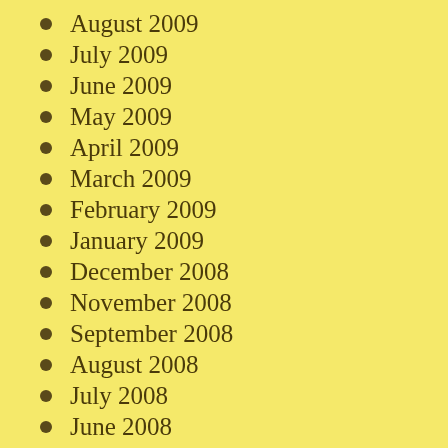August 2009
July 2009
June 2009
May 2009
April 2009
March 2009
February 2009
January 2009
December 2008
November 2008
September 2008
August 2008
July 2008
June 2008
May 2008
April 2008